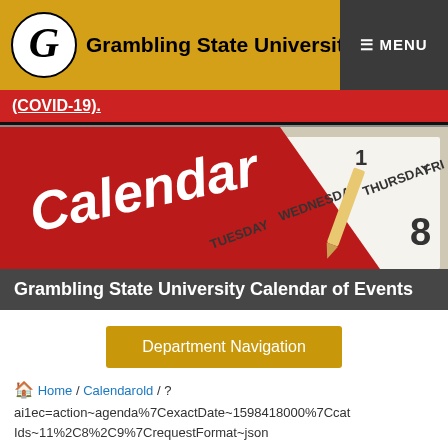Grambling State University  ≡ MENU
(COVID-19).
[Figure (photo): Photo of a calendar showing days of the week with the word 'Calendar' on a red diagonal banner and a pencil visible]
Grambling State University Calendar of Events
Department Navigation
🏠 Home / Calendarold / ?ai1ec=action~agenda%7CexactDate~1598418000%7Ccat Ids~11%2C8%2C9%7CrequestFormat~json
Calendar